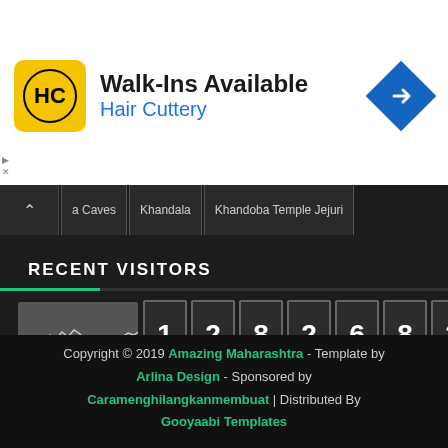[Figure (other): Hair Cuttery advertisement banner with yellow HC logo, 'Walk-Ins Available' text, and blue navigation arrow icon]
a Caves  Khandala  Khandoba Temple Jejuri
RECENT VISITORS
[Figure (other): Visitor counter showing waveform graph thumbnail and 8-digit counter: 12826829]
Copyright © 2019 Amazing Maharashtra - Template by Arlina Design - Sponsored by Caramenghilangkanmembuat | Distributed By Gooyaabi Templates